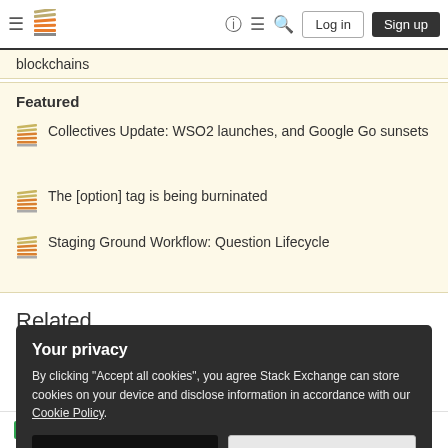Stack Exchange navigation bar with hamburger menu, logo, help, chat, search icons, Log in and Sign up buttons
blockchains
Featured
Collectives Update: WSO2 launches, and Google Go sunsets
The [option] tag is being burninated
Staging Ground Workflow: Question Lifecycle
Related
Your privacy
By clicking "Accept all cookies", you agree Stack Exchange can store cookies on your device and disclose information in accordance with our Cookie Policy.
Accept all cookies
Customize settings
9   How much time does our Community User generally take to